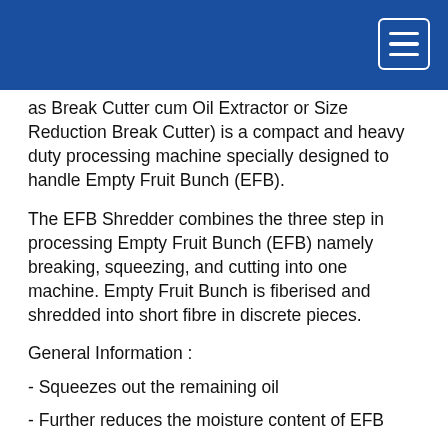as Break Cutter cum Oil Extractor or Size Reduction Break Cutter) is a compact and heavy duty processing machine specially designed to handle Empty Fruit Bunch (EFB).
The EFB Shredder combines the three step in processing Empty Fruit Bunch (EFB) namely breaking, squeezing, and cutting into one machine. Empty Fruit Bunch is fiberised and shredded into short fibre in discrete pieces.
General Information :
- Squeezes out the remaining oil
- Further reduces the moisture content of EFB